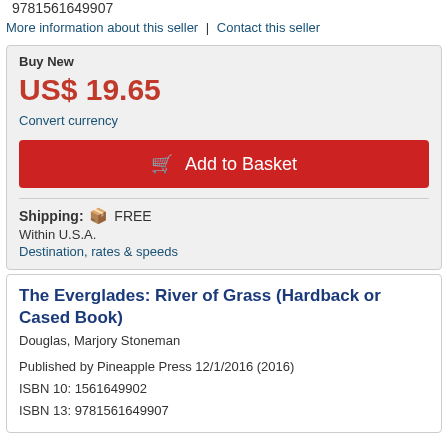9781561649907
More information about this seller | Contact this seller
Buy New
US$ 19.65
Convert currency
Add to Basket
Shipping: FREE
Within U.S.A.
Destination, rates & speeds
The Everglades: River of Grass (Hardback or Cased Book)
Douglas, Marjory Stoneman
Published by Pineapple Press 12/1/2016 (2016)
ISBN 10: 1561649902
ISBN 13: 9781561649907